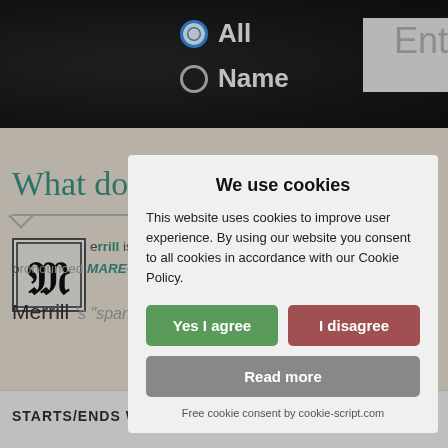[Figure (screenshot): Website screenshot showing radio buttons 'All' (selected) and 'Name' with an input field on dark header bar]
What does Merrill mean?
[Figure (illustration): Ornamental letter M in decorative box]
Merrill is a boy's name (also used as girl's name Merrill), is pronounced MARE-ul. It is of English and Old French origin, and the meaning of Merrill is "sparkling sea". From Muriel. En...
STARTS/ENDS WITH Me-, -ll
[Figure (screenshot): Cookie consent dialog with title 'We use cookies', consent text, Yes I agree button, I disagree button, Read more button, and footer 'Free cookie consent by cookie-script.com']